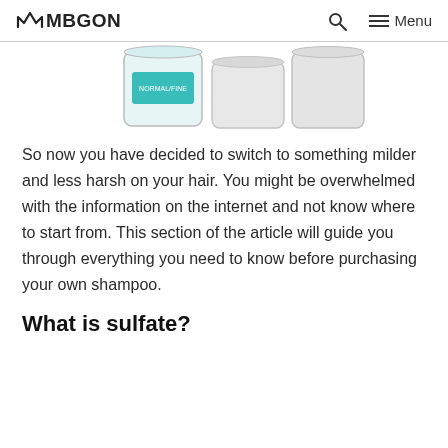MBGON   Menu
[Figure (photo): Product photo showing three shampoo/conditioner containers — a clear glass jar with teal label, and two white opaque containers, partially cropped at top of page.]
So now you have decided to switch to something milder and less harsh on your hair. You might be overwhelmed with the information on the internet and not know where to start from. This section of the article will guide you through everything you need to know before purchasing your own shampoo.
What is sulfate?